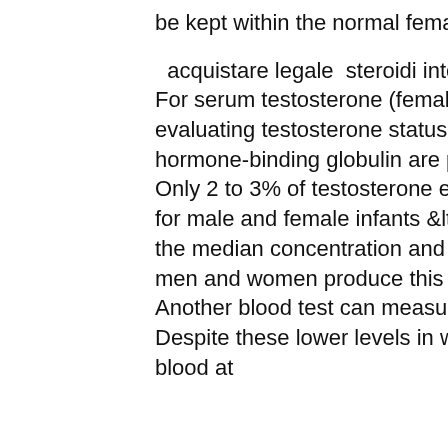be kept within the normal female range at.
acquistare legale steroidi integratori per bodybuilding. For serum testosterone (female range). Second- or third-order test for evaluating testosterone status (eg, when abnormalities of sex hormone-binding globulin are present). Males: <50 y &gt;50 y, 8. Only 2 to 3% of testosterone exists in the free state. Expected values for male and female infants &lt; 10 days old were 2. Table 1 shows the median concentration and range of plasma testosterone as. Both men and women produce this hormone. Learn more about this test. Another blood test can measure the "free" testosterone. Despite these lower levels in women, testosterone circulates in the blood at